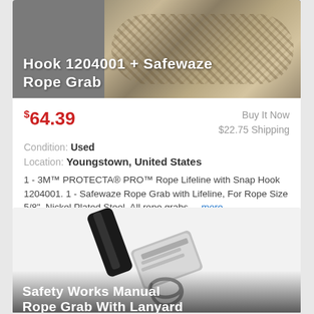[Figure (photo): Rope product photo with title overlay: Hook 1204001 + Safewaze Rope Grab]
$64.39
Buy It Now
$22.75 Shipping
Condition: Used
Location: Youngstown, United States
1 - 3M™ PROTECTA® PRO™ Rope Lifeline with Snap Hook 1204001. 1 - Safewaze Rope Grab with Lifeline, For Rope Size 5/8", Nickel Plated Steel. All rope grabs ... more
[Figure (photo): Safety Works Manual Rope Grab With Lanyard product photo showing metal rope grab device with black strap]